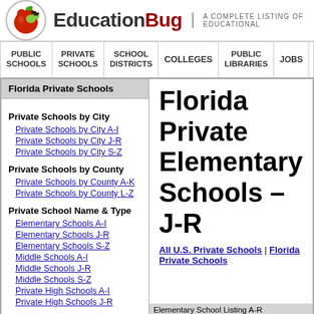[Figure (logo): EducationBug logo with apple and worm icon, tagline 'A COMPLETE LISTING OF EDUCATIONAL...']
PUBLIC SCHOOLS | PRIVATE SCHOOLS | SCHOOL DISTRICTS | COLLEGES | PUBLIC LIBRARIES | JOBS | BLOG
Florida Private Schools
Private Schools by City
Private Schools by City A-I
Private Schools by City J-R
Private Schools by City S-Z
Private Schools by County
Private Schools by County A-K
Private Schools by County L-Z
Private School Name & Type
Elementary Schools A-I
Elementary Schools J-R
Elementary Schools S-Z
Middle Schools A-I
Middle Schools J-R
Middle Schools S-Z
Private High Schools A-I
Private High Schools J-R
Florida Private Elementary Schools – J-R
All U.S. Private Schools | Florida Private Schools